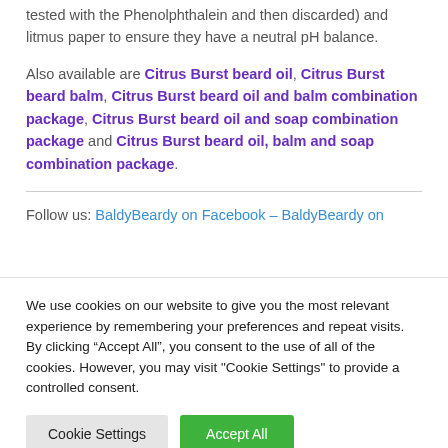tested with the Phenolphthalein and then discarded) and litmus paper to ensure they have a neutral pH balance.
Also available are Citrus Burst beard oil, Citrus Burst beard balm, Citrus Burst beard oil and balm combination package, Citrus Burst beard oil and soap combination package and Citrus Burst beard oil, balm and soap combination package.
Follow us: BaldyBeardy on Facebook – BaldyBeardy on
We use cookies on our website to give you the most relevant experience by remembering your preferences and repeat visits. By clicking "Accept All", you consent to the use of all of the cookies. However, you may visit "Cookie Settings" to provide a controlled consent.